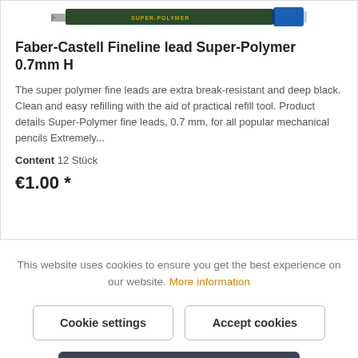[Figure (photo): Partial top view of a Faber-Castell Fineline mechanical pencil lead refill packaging, showing the tip of the pencil and the dark green packaging labeled SUPER-POLYMER.]
Faber-Castell Fineline lead Super-Polymer 0.7mm H
The super polymer fine leads are extra break-resistant and deep black. Clean and easy refilling with the aid of practical refill tool. Product details Super-Polymer fine leads, 0.7 mm, for all popular mechanical pencils Extremely...
Content 12 Stück
€1.00 *
This website uses cookies to ensure you get the best experience on our website. More information
Cookie settings
Accept cookies
Accept all cookies